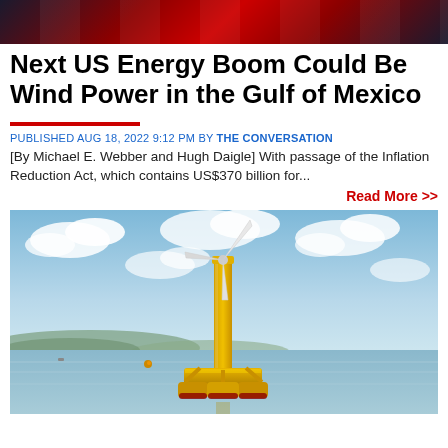[Figure (photo): Top banner image with blurred red and dark background, motion blur effect]
Next US Energy Boom Could Be Wind Power in the Gulf of Mexico
PUBLISHED AUG 18, 2022 9:12 PM BY THE CONVERSATION
[By Michael E. Webber and Hugh Daigle] With passage of the Inflation Reduction Act, which contains US$370 billion for...
Read More >>
[Figure (photo): Photograph of a yellow floating offshore wind turbine platform on calm water with blue sky and clouds and distant hills]